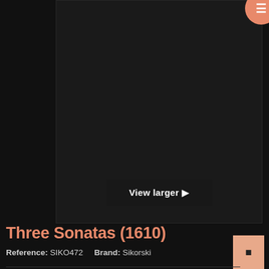[Figure (other): Dark product image area showing a book/sheet music cover for Three Sonatas (1610). Large dark rectangular image panel with a 'View larger' button overlay at the bottom center.]
Three Sonatas (1610)
Reference: SIKO472    Brand: Sikorski